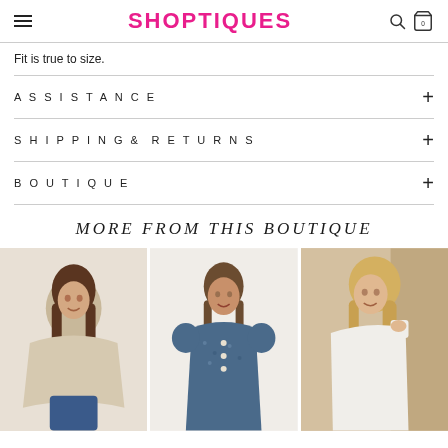SHOPTIQUES
Fit is true to size.
ASSISTANCE
SHIPPING & RETURNS
BOUTIQUE
MORE FROM THIS BOUTIQUE
[Figure (photo): Three product photos showing fashion items: a beige turtleneck poncho sweater, a blue tweed button-front mini dress, and a white one-shoulder maxi dress.]